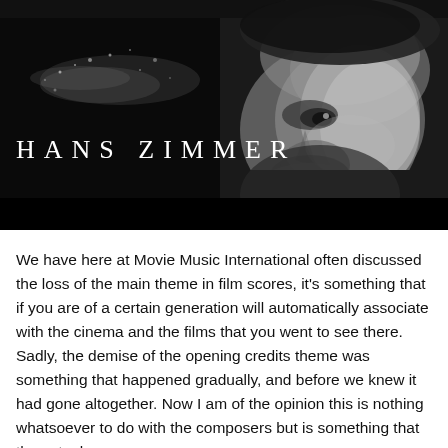[Figure (photo): Black and white promotional photo of Hans Zimmer — a middle-aged man with stubble and slight smile, face lit dramatically from the right side. The text 'HANS ZIMMER' appears in wide-spaced white capital letters over a dark/gradient background on the left side of the image. Black bars appear at the top and bottom.]
We have here at Movie Music International often discussed the loss of the main theme in film scores, it's something that if you are of a certain generation will automatically associate with the cinema and the films that you went to see there. Sadly, the demise of the opening credits theme was something that happened gradually, and before we knew it had gone altogether. Now I am of the opinion this is nothing whatsoever to do with the composers but is something that the actual